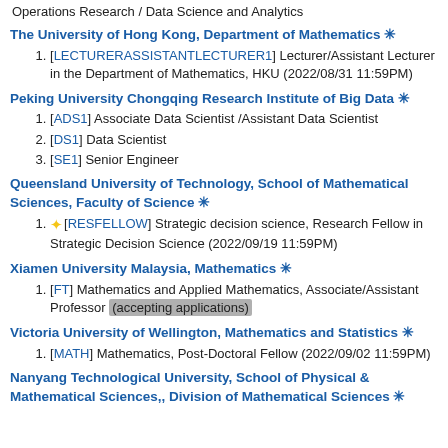Operations Research / Data Science and Analytics
The University of Hong Kong, Department of Mathematics ✳
[LECTURERASSISTANTLECTURER1] Lecturer/Assistant Lecturer in the Department of Mathematics, HKU (2022/08/31 11:59PM)
Peking University Chongqing Research Institute of Big Data ✳
[ADS1] Associate Data Scientist /Assistant Data Scientist
[DS1] Data Scientist
[SE1] Senior Engineer
Queensland University of Technology, School of Mathematical Sciences, Faculty of Science ✳
[RESFELLOW] Strategic decision science, Research Fellow in Strategic Decision Science (2022/09/19 11:59PM)
Xiamen University Malaysia, Mathematics ✳
[FT] Mathematics and Applied Mathematics, Associate/Assistant Professor (accepting applications)
Victoria University of Wellington, Mathematics and Statistics ✳
[MATH] Mathematics, Post-Doctoral Fellow (2022/09/02 11:59PM)
Nanyang Technological University, School of Physical & Mathematical Sciences,, Division of Mathematical Sciences ✳